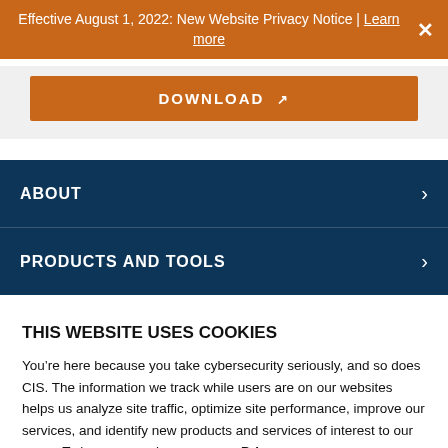Effective August 1, 2022: New Website Privacy Notice | Learn more
[Figure (screenshot): Orange download button with text DOWNLOAD and arrow icon]
ABOUT
PRODUCTS AND TOOLS
THIS WEBSITE USES COOKIES
You’re here because you take cybersecurity seriously, and so does CIS. The information we track while users are on our websites helps us analyze site traffic, optimize site performance, improve our services, and identify new products and services of interest to our users. To learn more please see our Privacy Policy